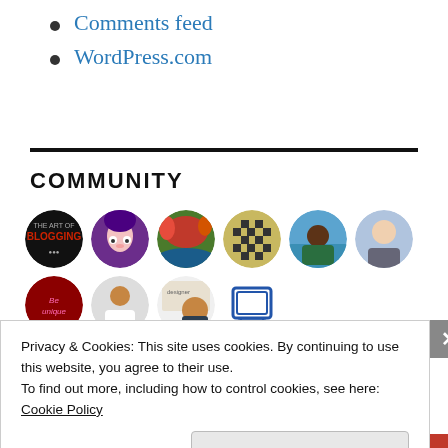Comments feed
WordPress.com
COMMUNITY
[Figure (illustration): Grid of circular avatar images showing various blog community members, arranged in two rows of 6 avatars each. Row 1: The Art of Blogging logo, anime girl avatar, nature/autumn photo, checkerboard pattern, person at beach, man in suit. Row 2: Be Unique neon text, person in white t-shirt, designer portrait sketch, blue retro computer/monitor icon.]
Privacy & Cookies: This site uses cookies. By continuing to use this website, you agree to their use.
To find out more, including how to control cookies, see here:
Cookie Policy
Close and accept